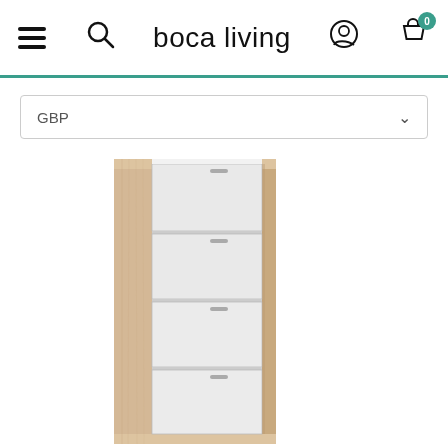boca living
GBP
[Figure (photo): A tall shoe cabinet with light oak/sonoma wood frame and four white flip-down drawer fronts, photographed on a white background.]